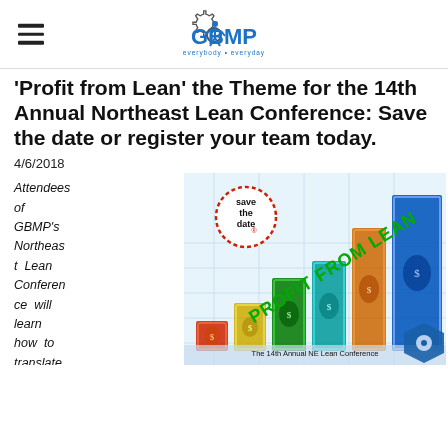GBMP — everybody • everyday
'Profit from Lean' the Theme for the 14th Annual Northeast Lean Conference: Save the date or register your team today.
4/6/2018
Attendees of GBMP's Northeast Lean Conference will learn how to translate
[Figure (illustration): Promotional image showing colorful 3D bar chart made of $100 bills (red, yellow, green, teal, orange, blue) with 'save the date' stamp circle in top left, 'PROFIT FROM LEAN' text diagonally in green. Caption: The 14th Annual NE Lean Conference October 10-11, 2018]